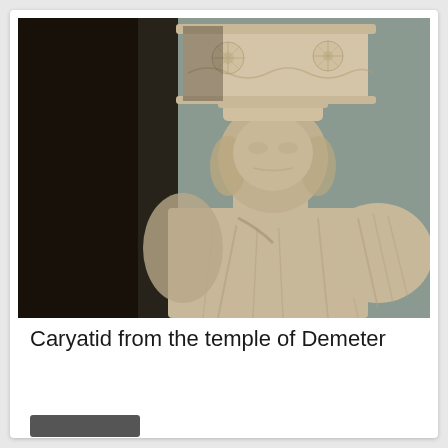[Figure (photo): Photograph of a marble caryatid statue from the temple of Demeter. The figure is shown from the torso up, with a large decorated capital (kalathos) balanced on its head. The face is heavily weathered/eroded. The figure wears draped robes. Background is grey-green. Black and white tones dominate the left side due to shadow.]
Caryatid from the temple of Demeter